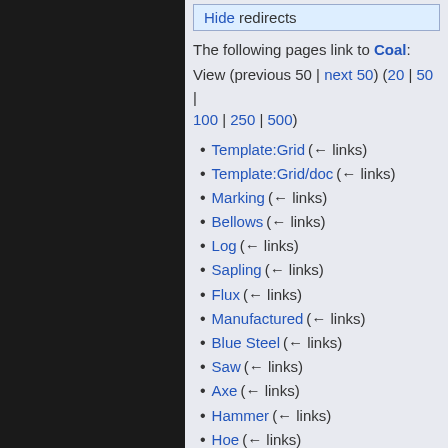Hide redirects
The following pages link to Coal:
View (previous 50 | next 50) (20 | 50 | 100 | 250 | 500)
Template:Grid  (← links)
Template:Grid/doc  (← links)
Marking  (← links)
Bellows  (← links)
Log  (← links)
Sapling  (← links)
Flux  (← links)
Manufactured  (← links)
Blue Steel  (← links)
Saw  (← links)
Axe  (← links)
Hammer  (← links)
Hoe  (← links)
Pickaxe  (← links)